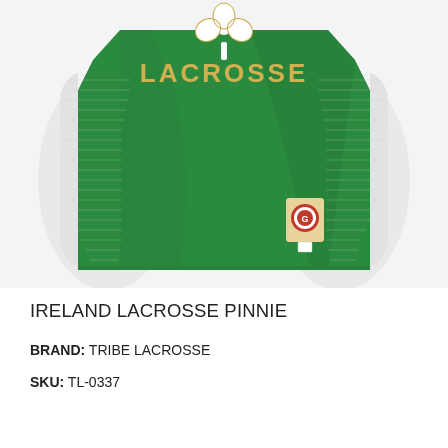[Figure (photo): A green lacrosse pinnie/jersey with white mesh side panels, featuring a white shamrock graphic at the top center and 'LACROSSE' text in gold/white lettering. A small circular brand patch is visible on the lower right chest area.]
IRELAND LACROSSE PINNIE
BRAND: TRIBE LACROSSE
SKU: TL-0337